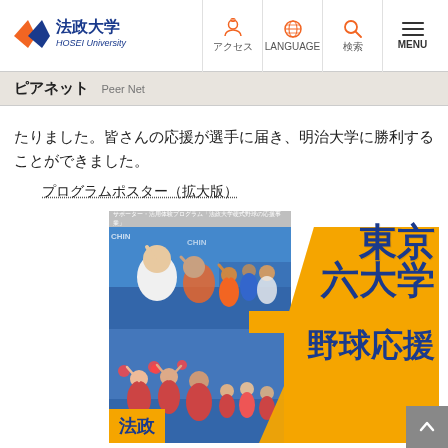法政大学 HOSEI University — アクセス LANGUAGE 検索 MENU
ピアネット Peer Net
たりました。皆さんの応援が選手に届き、明治大学に勝利することができました。
プログラムポスター（拡大版）
[Figure (photo): Poster for Tokyo Big6 University Baseball cheering event, featuring fans and cheerleaders at a baseball stadium. Orange background with large blue Japanese text reading 東京六大学 野球応援 and 法政 branding.]